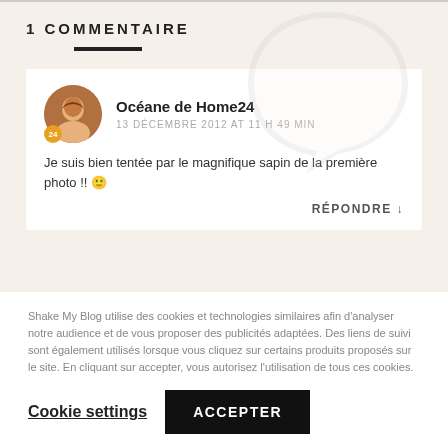1 COMMENTAIRE
Océane de Home24
13 DÉCEMBRE 2012 AT 11 H 49 MIN
Je suis bien tentée par le magnifique sapin de la première photo !! 🙂
RÉPONDRE ↓
Shake My Blog utilise des cookies et technologies similaires afin d'analyser notre audience et de vous proposer des publicités adaptées. Des liens de suivi sont également utilisés lorsque vous cliquez sur certains produits proposés sur le site. En cliquant sur accepter, vous autorisez l'utilisation de tous ces cookies.
Cookie settings   ACCEPTER